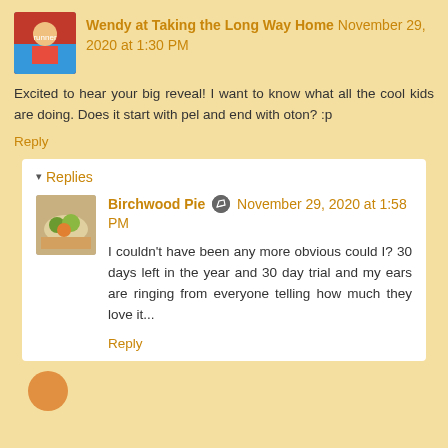Wendy at Taking the Long Way Home  November 29, 2020 at 1:30 PM
Excited to hear your big reveal! I want to know what all the cool kids are doing. Does it start with pel and end with oton? :p
Reply
▾ Replies
Birchwood Pie  November 29, 2020 at 1:58 PM
I couldn't have been any more obvious could I? 30 days left in the year and 30 day trial and my ears are ringing from everyone telling how much they love it...
Reply